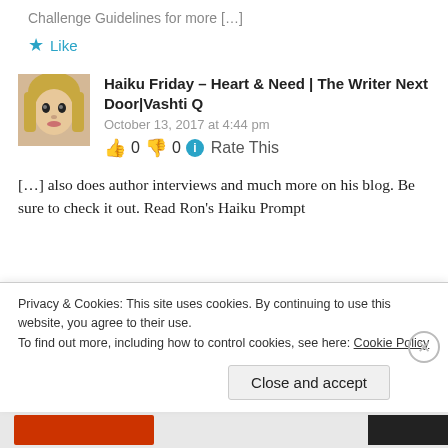Challenge Guidelines for more […]
★ Like
[Figure (photo): Avatar photo of a blonde woman]
Haiku Friday – Heart & Need | The Writer Next Door|Vashti Q
October 13, 2017 at 4:44 pm
👍 0 👎 0 ℹ Rate This
[…] also does author interviews and much more on his blog. Be sure to check it out. Read Ron's Haiku Prompt
Privacy & Cookies: This site uses cookies. By continuing to use this website, you agree to their use.
To find out more, including how to control cookies, see here: Cookie Policy
Close and accept